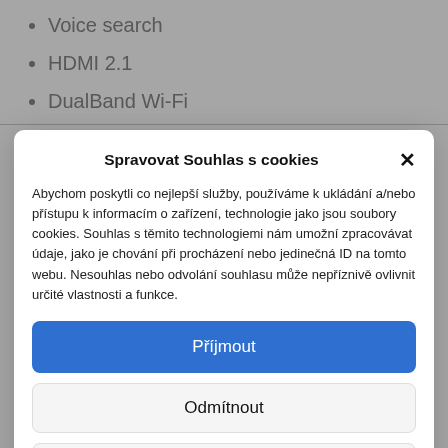Voice search
HDMI 2.1
DualBand Wi-Fi
Spravovat Souhlas s cookies
Abychom poskytli co nejlepší služby, používáme k ukládání a/nebo přístupu k informacím o zařízení, technologie jako jsou soubory cookies. Souhlas s těmito technologiemi nám umožní zpracovávat údaje, jako je chování při procházení nebo jedinečná ID na tomto webu. Nesouhlas nebo odvolání souhlasu může nepříznivě ovlivnit určité vlastnosti a funkce.
Příjmout
Odmítnout
Zobrazit předvolby
Zásady cookies  Privacy Statement